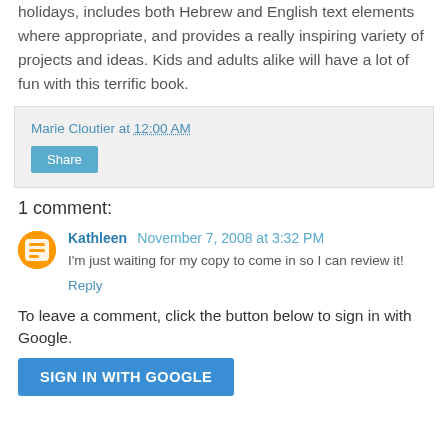holidays, includes both Hebrew and English text elements where appropriate, and provides a really inspiring variety of projects and ideas. Kids and adults alike will have a lot of fun with this terrific book.
Marie Cloutier at 12:00 AM
Share
1 comment:
Kathleen November 7, 2008 at 3:32 PM
I'm just waiting for my copy to come in so I can review it!
Reply
To leave a comment, click the button below to sign in with Google.
SIGN IN WITH GOOGLE